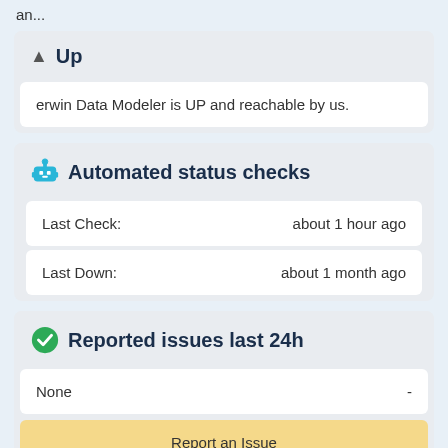an...
Up
erwin Data Modeler is UP and reachable by us.
Automated status checks
| Last Check: | about 1 hour ago |
| Last Down: | about 1 month ago |
Reported issues last 24h
None  -
Report an Issue